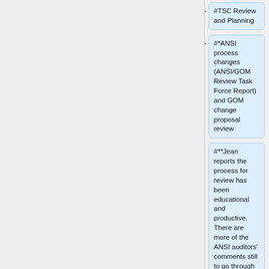#TSC Review and Planning
#*ANSI process changes (ANSI/GOM Review Task Force Report) and GOM change proposal review
#**Jean reports the process for review has been educational and productive. There are more of the ANSI auditors' comments still to go through so the calls will